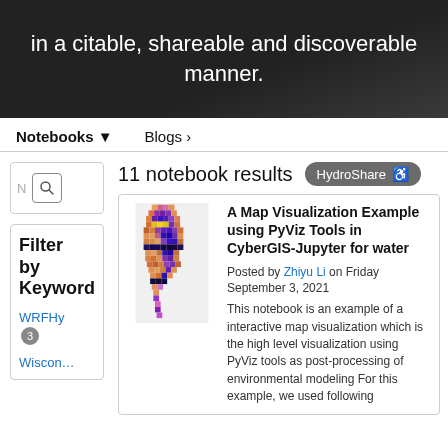in a citable, shareable and discoverable manner.
Notebooks ▾   Blogs ›
11 notebook results  HydroShare ⊗
A Map Visualization Example using PyViz Tools in CyberGIS-Jupyter for water
Posted by Zhiyu Li on Friday September 3, 2021
This notebook is an example of a interactive map visualization which is the high level visualization using PyViz tools as post-processing of environmental modeling For this example, we used following
Filter by Keyword
WRFHy 3
Wiscon…